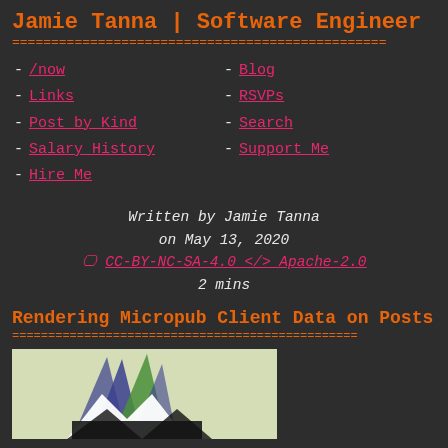Jamie Tanna | Software Engineer
- /now
- Links
- Post by Kind
- Salary History
- Hire Me
- Blog
- RSVPs
- Search
- Support Me
Written by Jamie Tanna
on May 13, 2020
🖵 CC-BY-NC-SA-4.0 </> Apache-2.0
2 mins
Rendering Micropub Client Data on Posts
[Figure (illustration): Illustration showing Micropub logo with colorful spikes on a light green/yellow background]